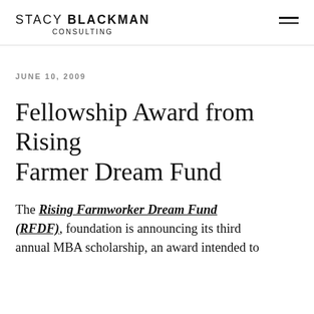STACY BLACKMAN CONSULTING
JUNE 10, 2009
Fellowship Award from Rising Farmer Dream Fund
The Rising Farmworker Dream Fund (RFDF) foundation is announcing its third annual MBA scholarship, an award intended to